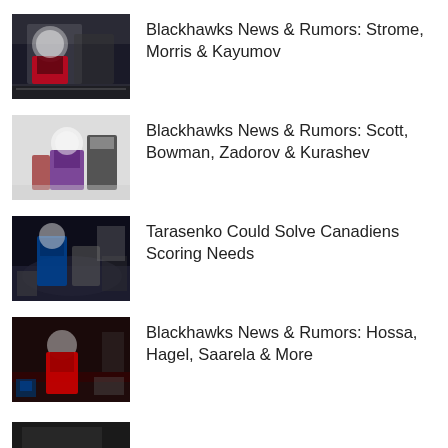[Figure (photo): Hockey player in Blackhawks uniform at face-off]
Blackhawks News & Rumors: Strome, Morris & Kayumov
[Figure (photo): Hockey player in Avalanche uniform with referee]
Blackhawks News & Rumors: Scott, Bowman, Zadorov & Kurashev
[Figure (photo): Hockey player in Blues uniform celebrating with trophy]
Tarasenko Could Solve Canadiens Scoring Needs
[Figure (photo): Hockey player in Blackhawks uniform on ice]
Blackhawks News & Rumors: Hossa, Hagel, Saarela & More
[Figure (photo): Partial hockey image at bottom]